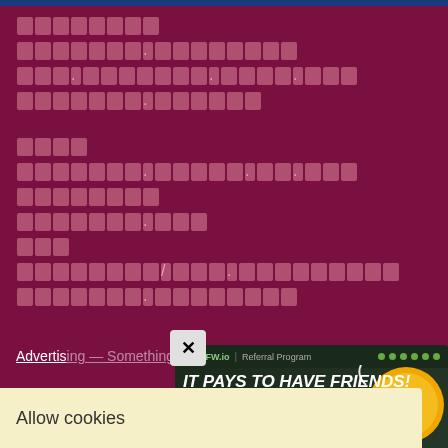[redacted content block - main body text with redacted characters on dark red background]
Advertising — Something
[Figure (screenshot): Popup ad banner for FMFW.io Referral Program with text IT PAYS TO HAVE FRIENDS! Earn 80% of the trading fees. Features green dots, yellow dots, and a Bitcoin coin graphic. Close button (X) in gray square at top left of popup.]
Allow cookies